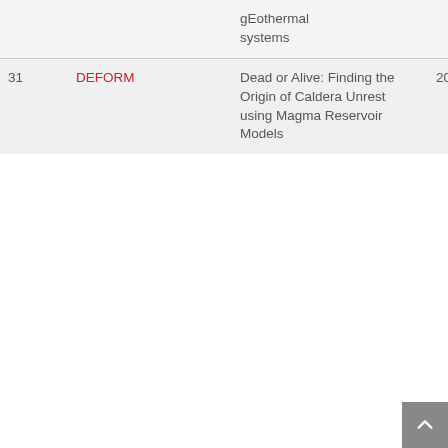| # | Code | Title | Year |
| --- | --- | --- | --- |
|  |  | gEothermal systems |  |
| 31 | DEFORM | Dead or Alive: Finding the Origin of Caldera Unrest using Magma Reservoir Models | 2020 |